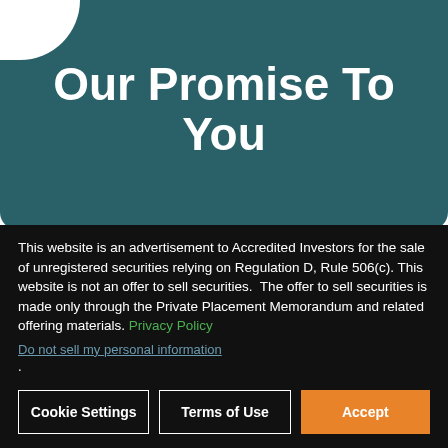Our Promise To You
This website is an advertisement to Accredited Investors for the sale of unregistered securities relying on Regulation D, Rule 506(c). This website is not an offer to sell securities.  The offer to sell securities is made only through the Private Placement Memorandum and related offering materials. Privacy Policy
Do not sell my personal information.
Cookie Settings | Terms of Use | Accept